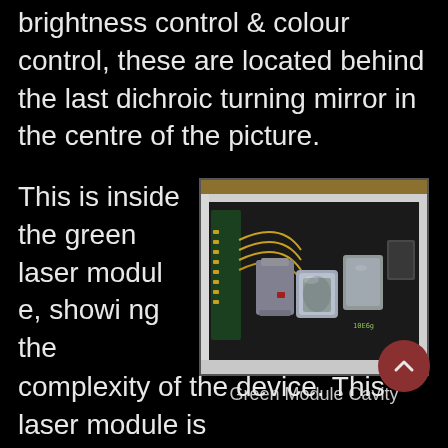brightness control & colour control, these are located behind the last dichroic turning mirror in the centre of the picture.
This is inside the green laser module, showing the complexity of the device. This laser module is
[Figure (photo): Close-up photograph of the interior of a green laser module cavity showing optical components including mirrors, lenses, and circuit board elements]
Green Module Cavity